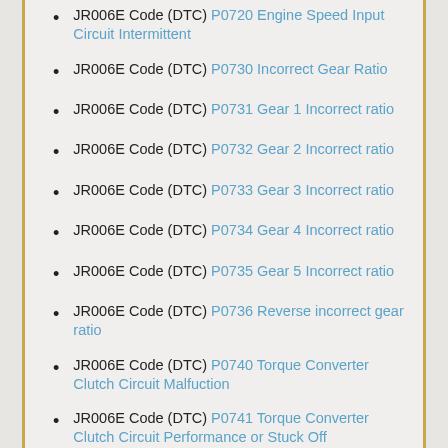JR006E Code (DTC) P0720 Engine Speed Input Circuit Intermittent
JR006E Code (DTC) P0730 Incorrect Gear Ratio
JR006E Code (DTC) P0731 Gear 1 Incorrect ratio
JR006E Code (DTC) P0732 Gear 2 Incorrect ratio
JR006E Code (DTC) P0733 Gear 3 Incorrect ratio
JR006E Code (DTC) P0734 Gear 4 Incorrect ratio
JR006E Code (DTC) P0735 Gear 5 Incorrect ratio
JR006E Code (DTC) P0736 Reverse incorrect gear ratio
JR006E Code (DTC) P0740 Torque Converter Clutch Circuit Malfuction
JR006E Code (DTC) P0741 Torque Converter Clutch Circuit Performance or Stuck Off
JR006E Code (DTC) P0742 Torque Converter Clutch Circuit Stuck On
JR006E Code (DTC) P0743 Torque Converter Clutch Circuit Electrical